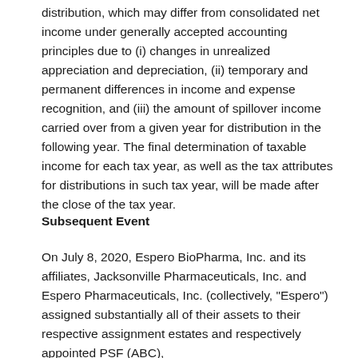distribution, which may differ from consolidated net income under generally accepted accounting principles due to (i) changes in unrealized appreciation and depreciation, (ii) temporary and permanent differences in income and expense recognition, and (iii) the amount of spillover income carried over from a given year for distribution in the following year. The final determination of taxable income for each tax year, as well as the tax attributes for distributions in such tax year, will be made after the close of the tax year.
Subsequent Event
On July 8, 2020, Espero BioPharma, Inc. and its affiliates, Jacksonville Pharmaceuticals, Inc. and Espero Pharmaceuticals, Inc. (collectively, "Espero") assigned substantially all of their assets to their respective assignment estates and respectively appointed PSF (ABC),